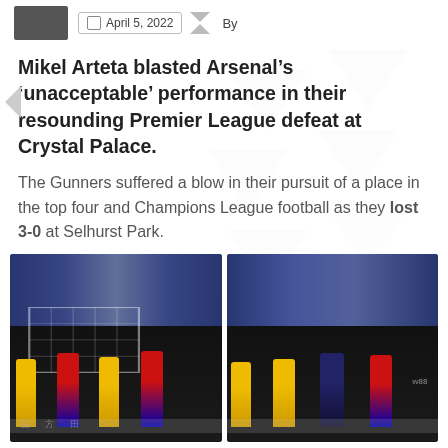April 5, 2022  By
Mikel Arteta blasted Arsenal's 'unacceptable' performance in their resounding Premier League defeat at Crystal Palace.
The Gunners suffered a blow in their pursuit of a place in the top four and Champions League football as they lost 3-0 at Selhurst Park.
[Figure (photo): Two-photo composite: left photo shows Crystal Palace and Arsenal players near the goal net during the match at Selhurst Park; right photo shows dejected Arsenal players in yellow kits with heads bowed, Crystal Palace players in red/blue stripes visible nearby, crowd in background.]